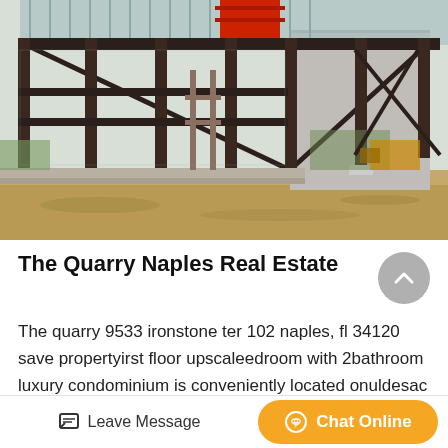[Figure (photo): Construction site photo showing a large steel-frame building under construction with red structural beams visible, on a dirt foreground, under a corrugated metal roof.]
The Quarry Naples Real Estate
The quarry 9533 ironstone ter 102 naples, fl 34120 save propertyirst floor upscaleedroom with 2bathroom luxury condominium is conveniently located onuldesac location backing up to the golf